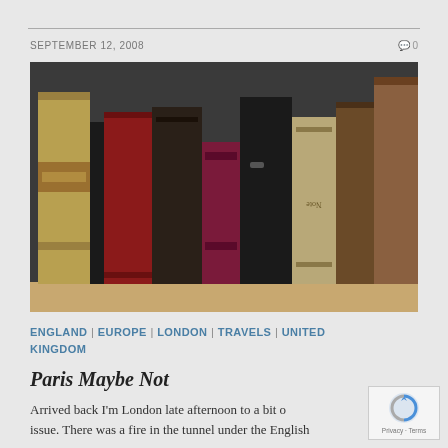SEPTEMBER 12, 2008     0
[Figure (photo): Row of old antique books with worn leather spines in various colors (gold, red, black, brown) standing on a wooden shelf against a dark background.]
ENGLAND | EUROPE | LONDON | TRAVELS | UNITED KINGDOM
Paris Maybe Not
Arrived back I'm London late afternoon to a bit of issue. There was a fire in the tunnel under the English